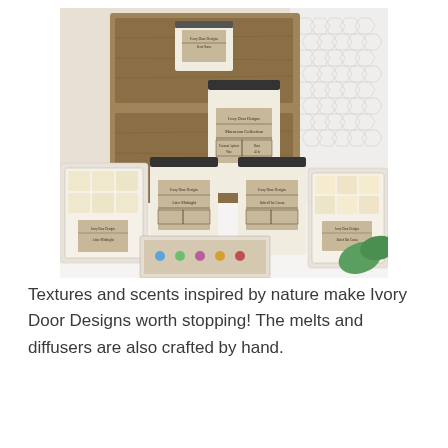[Figure (photo): A product photo showing Ivory Door Designs candles and wax melts arranged on a rustic wooden shelf. Several cream-colored candles with kraft paper labels and black lids are displayed, alongside wax melt clamshell packages. Products are set against a white hexagonal tile background with some greenery visible.]
Textures and scents inspired by nature make Ivory Door Designs worth stopping! The melts and diffusers are also crafted by hand.